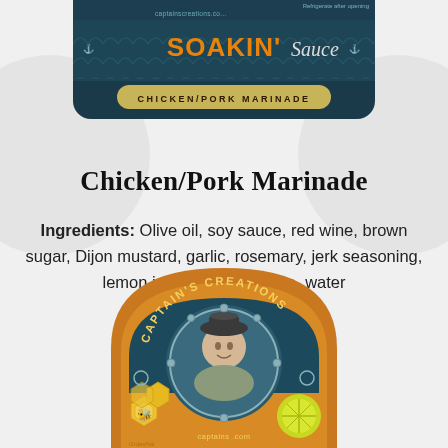[Figure (photo): Captain's Creations Soakin' Sauce Chicken/Pork Marinade product label — dark teal background with wave/scale pattern, orange SOAKIN' text, white Sauce text, and a tan banner reading CHICKEN/PORK MARINADE]
Chicken/Pork Marinade
Ingredients: Olive oil, soy sauce, red wine, brown sugar, Dijon mustard, garlic, rosemary, jerk seasoning, lemon juice, teriyaki sauce, water
[Figure (logo): Captain's Creations circular logo — orange background with captain portrait illustration, honeycomb/bee motif on left, citrus slice on right, website captainscreations.com at bottom]